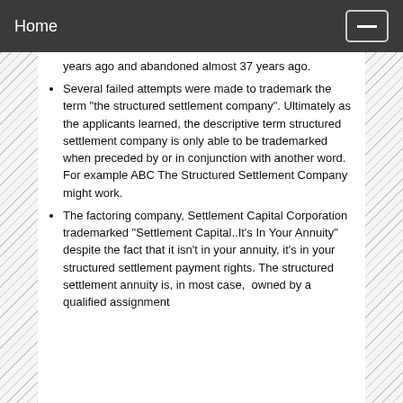Home
years ago and abandoned almost 37 years ago.
Several failed attempts were made to trademark the term "the structured settlement company". Ultimately as the applicants learned, the descriptive term structured settlement company is only able to be trademarked  when preceded by or in conjunction with another word. For example ABC The Structured Settlement Company might work.
The factoring company, Settlement Capital Corporation trademarked "Settlement Capital..It's In Your Annuity" despite the fact that it isn't in your annuity, it's in your structured settlement payment rights. The structured settlement annuity is, in most case,  owned by a qualified assignment